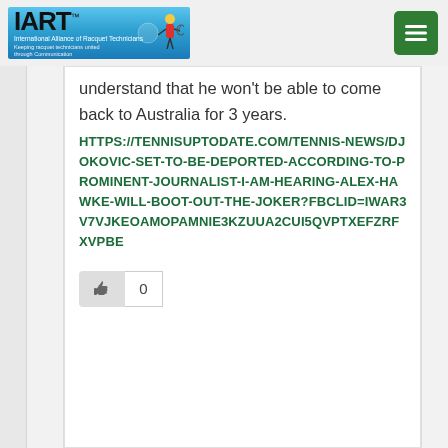[Figure (logo): IART - International Alliance of Racquet Technicians logo with globe and tennis player cartoon, blue background]
[Figure (other): Green hamburger menu button (3 horizontal lines)]
understand that he won't be able to come back to Australia for 3 years.
HTTPS://TENNISUPTODATE.COM/TENNIS-NEWS/DJOKOVIC-SET-TO-BE-DEPORTED-ACCORDING-TO-PROMINENT-JOURNALIST-I-AM-HEARING-ALEX-HAWKE-WILL-BOOT-OUT-THE-JOKER?FBCLID=IWAR3V7VJKEOAMOPAMNIE3KZUUA2CUI5QVPTXEFZRFXVPBE